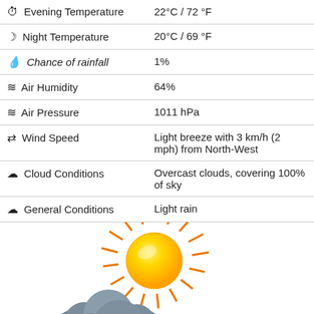| Condition | Value |
| --- | --- |
| ⏱ Evening Temperature | 22°C / 72 °F |
| ☽ Night Temperature | 20°C / 69 °F |
| 💧 Chance of rainfall | 1% |
| ≈ Air Humidity | 64% |
| ≈ Air Pressure | 1011 hPa |
| ↪ Wind Speed | Light breeze with 3 km/h (2 mph) from North-West |
| ☁ Cloud Conditions | Overcast clouds, covering 100% of sky |
| ☁ General Conditions | Light rain |
[Figure (illustration): Weather illustration showing a bright sun with orange rays partially behind dark rain clouds, typical partly cloudy/rainy weather icon.]